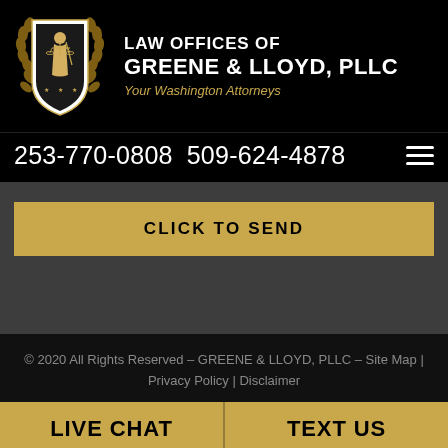[Figure (logo): Law Offices of Greene & Lloyd PLLC shield logo with Lady Justice and laurel wreath in gold and white on black background]
LAW OFFICES OF GREENE & LLOYD, PLLC
Your Washington Attorneys
253-770-0808   509-624-4878
CLICK TO SEND
© 2020 All Rights Reserved – GREENE & LLOYD, PLLC – Site Map | Privacy Policy | Disclaimer
LIVE CHAT   TEXT US